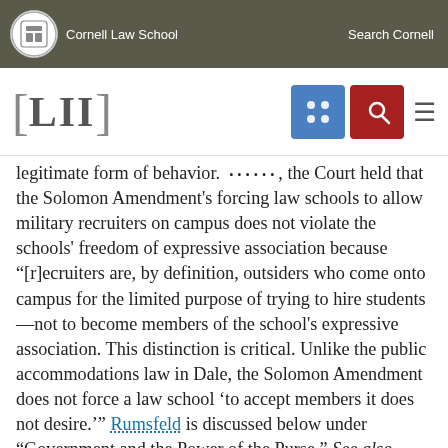Cornell Law School   Search Cornell
[Figure (logo): LII Legal Information Institute logo with navigation icons]
legitimate form of behavior. ……, the Court held that the Solomon Amendment's forcing law schools to allow military recruiters on campus does not violate the schools' freedom of expressive association because "[r]ecruiters are, by definition, outsiders who come onto campus for the limited purpose of trying to hire students—not to become members of the school's expressive association. This distinction is critical. Unlike the public accommodations law in Dale, the Solomon Amendment does not force a law school 'to accept members it does not desire.'" Rumsfeld is discussed below under "Government and the Power of the Purse." See also Andrew Koppelman and Tobias Barrington Wolff, A Right to Discriminate?: How the Case of Boy Scouts of